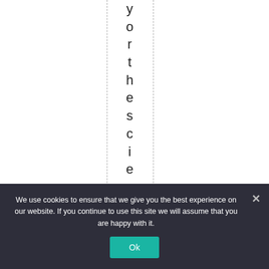y o r t h e s c i e n c e , a n d l
We use cookies to ensure that we give you the best experience on our website. If you continue to use this site we will assume that you are happy with it.